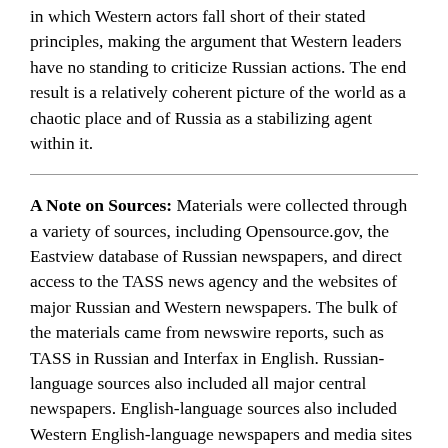in which Western actors fall short of their stated principles, making the argument that Western leaders have no standing to criticize Russian actions. The end result is a relatively coherent picture of the world as a chaotic place and of Russia as a stabilizing agent within it.
A Note on Sources: Materials were collected through a variety of sources, including Opensource.gov, the Eastview database of Russian newspapers, and direct access to the TASS news agency and the websites of major Russian and Western newspapers. The bulk of the materials came from newswire reports, such as TASS in Russian and Interfax in English. Russian-language sources also included all major central newspapers. English-language sources also included Western English-language newspapers and media sites of record, such as the New York Times and the BBC. All materials were hand-coded by one of the two team members. Our analysis assumes that statements in Russian-language sources are aimed primarily at a domestic